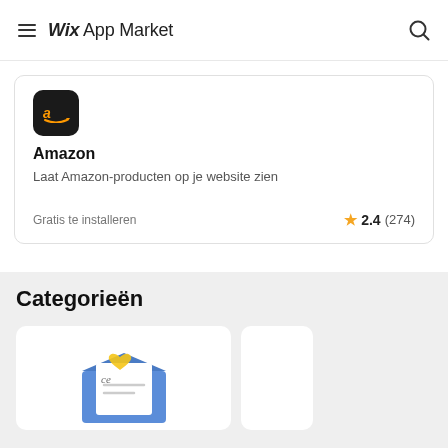Wix App Market
[Figure (screenshot): Amazon app card showing app icon (black rounded square with orange Amazon arrow logo), app name 'Amazon', description 'Laat Amazon-producten op je website zien', price 'Gratis te installeren', rating star 2.4 (274)]
Categorieën
[Figure (illustration): Email/newsletter category card with blue envelope illustration and yellow heart, showing a letter inside]